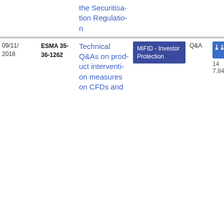| Date | Reference | Title | Topic | Type | Download |
| --- | --- | --- | --- | --- | --- |
|  |  | the Securitisation Regulation |  |  |  |
| 09/11/2018 | ESMA 35-36-1262 | Technical Q&As on product intervention measures on CFDs and... | MiFID - Investor Protection | Q&A | PDF 14 7.84 KB |